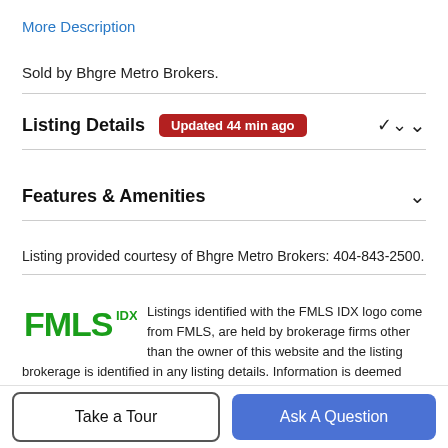More Description
Sold by Bhgre Metro Brokers.
Listing Details  Updated 44 min ago
Features & Amenities
Listing provided courtesy of Bhgre Metro Brokers: 404-843-2500.
Listings identified with the FMLS IDX logo come from FMLS, are held by brokerage firms other than the owner of this website and the listing brokerage is identified in any listing details. Information is deemed reliable but is not guaranteed. If you believe any FMLS listing contains material
Take a Tour
Ask A Question